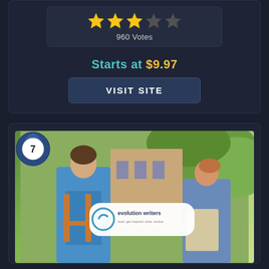[Figure (infographic): Star rating display showing 3 gold stars and 2 gray stars with 960 Votes label below]
Starts at $9.97
VISIT SITE
[Figure (photo): Photo of two students with backpacks outdoors, with a #7 badge in the top left corner and an Evolution Writers logo overlay in the center. Logo reads: evolution writers, read. get inspired. write. evolve.]